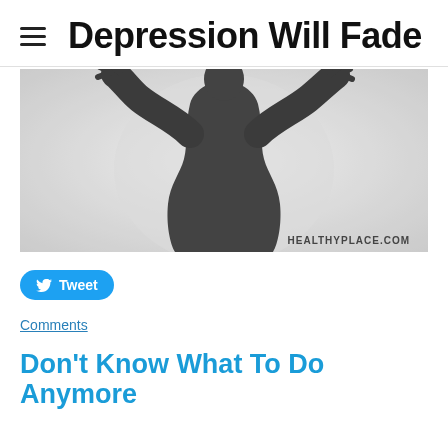Depression Will Fade
[Figure (photo): Silhouette of a person pressing hands against a frosted glass surface, photographed from behind, creating a dark shadowy outline against a light background. Watermark reads HEALTHYPLACE.COM in the lower right corner.]
Tweet
Comments
Don't Know What To Do Anymore